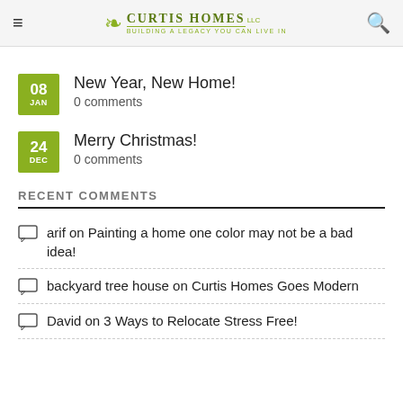Curtis Homes LLC — Building a Legacy You Can Live In
08 JAN — New Year, New Home! — 0 comments
24 DEC — Merry Christmas! — 0 comments
RECENT COMMENTS
arif on Painting a home one color may not be a bad idea!
backyard tree house on Curtis Homes Goes Modern
David on 3 Ways to Relocate Stress Free!